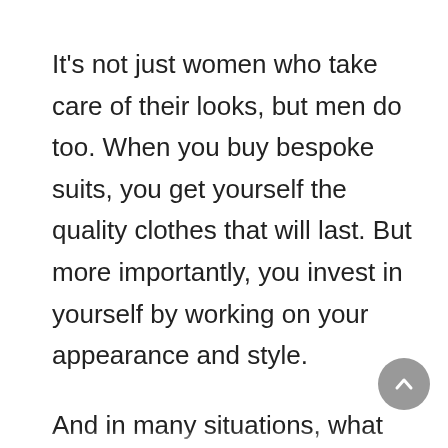It's not just women who take care of their looks, but men do too. When you buy bespoke suits, you get yourself the quality clothes that will last. But more importantly, you invest in yourself by working on your appearance and style.
And in many situations, what you look like is very important. For example, your workplace requires professional, serious, and trustworthy people. And what more than a well-fitted handmade suit says about you and your personality? If you have a sleek, elegant style, wearing a bespoke outfit is the ultimate in style. Be sure you'll leave a good impression on your colleagues, superiors, and all business...